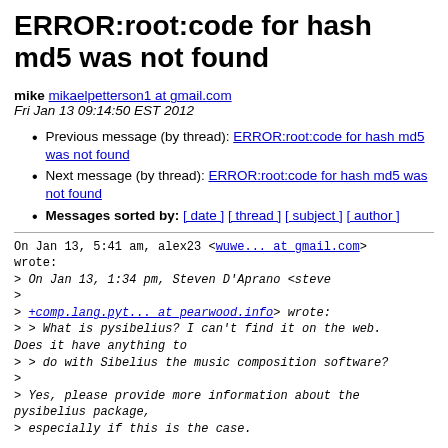ERROR:root:code for hash md5 was not found
mike mikaelpetterson1 at gmail.com
Fri Jan 13 09:14:50 EST 2012
Previous message (by thread): ERROR:root:code for hash md5 was not found
Next message (by thread): ERROR:root:code for hash md5 was not found
Messages sorted by: [ date ] [ thread ] [ subject ] [ author ]
On Jan 13, 5:41 am, alex23 <wuwe... at gmail.com> wrote:
> On Jan 13, 1:34 pm, Steven D'Aprano <steve
>
> +comp.lang.pyt... at pearwood.info> wrote:
> > What is pysibelius? I can't find it on the web. Does it have anything to
> > do with Sibelius the music composition software?
>
> Yes, please provide more information about the pysibelius package,
> especially if this is the case.